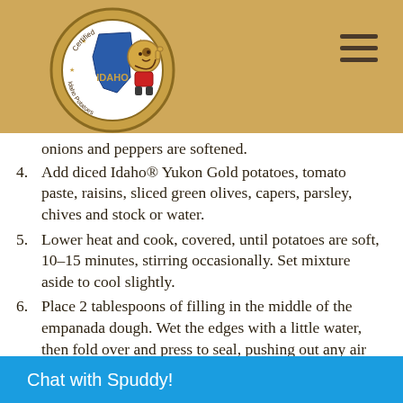[Figure (logo): Certified Idaho Potatoes logo with mascot potato character giving thumbs up]
onions and peppers are softened.
4. Add diced Idaho® Yukon Gold potatoes, tomato paste, raisins, sliced green olives, capers, parsley, chives and stock or water.
5. Lower heat and cook, covered, until potatoes are soft, 10–15 minutes, stirring occasionally. Set mixture aside to cool slightly.
6. Place 2 tablespoons of filling in the middle of the empanada dough. Wet the edges with a little water, then fold over and press to seal, pushing out any air trapped inside. Lightly press with a fork to seal the edges of each empanada